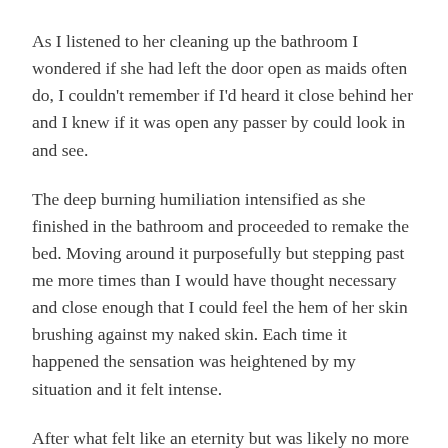As I listened to her cleaning up the bathroom I wondered if she had left the door open as maids often do, I couldn't remember if I'd heard it close behind her and I knew if it was open any passer by could look in and see.
The deep burning humiliation intensified as she finished in the bathroom and proceeded to remake the bed. Moving around it purposefully but stepping past me more times than I would have thought necessary and close enough that I could feel the hem of her skin brushing against my naked skin. Each time it happened the sensation was heightened by my situation and it felt intense.
After what felt like an eternity but was likely no more than ten minutes the activity stopped, I heard some scratching